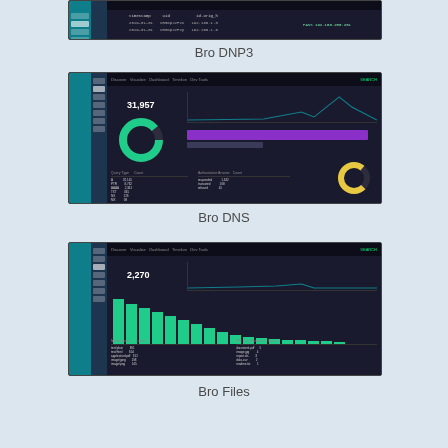[Figure (screenshot): Partial screenshot of Bro DNP3 analytics dashboard showing dark UI with teal sidebar, navigation menu, and data table/log output]
Bro DNP3
[Figure (screenshot): Screenshot of Bro DNS Kibana/Elastic analytics dashboard showing dark UI with teal sidebar, donut chart in green showing 31,957, a purple horizontal bar chart, and data tables at bottom]
Bro DNS
[Figure (screenshot): Screenshot of Bro Files analytics dashboard showing dark UI with teal sidebar, number 2,270, bar chart with teal bars, and data tables at bottom (partially cropped)]
Bro Files